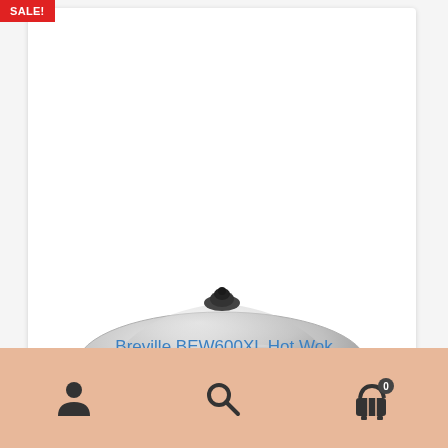[Figure (photo): Breville BEW600XL Hot Wok — a stainless steel electric wok with a domed glass lid with black knob, two black side handles, and a black temperature control dial on the right side, sitting on a round base.]
SALE!
Breville BEW600XL Hot Wok
$129.95  $124.95
[Figure (infographic): Bottom navigation bar with three icons: person/account icon, search magnifier icon, and shopping cart icon with badge showing 0.]